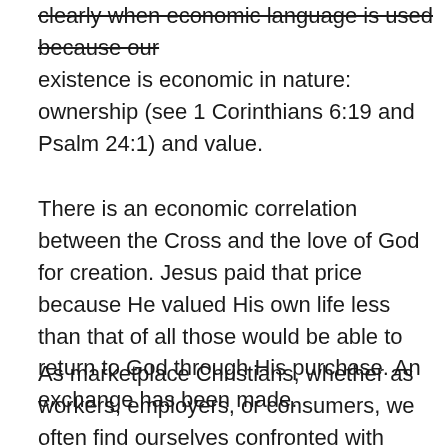clearly when economic language is used because our existence is economic in nature: ownership (see 1 Corinthians 6:19 and Psalm 24:1) and value.
There is an economic correlation between the Cross and the love of God for creation. Jesus paid that price because He valued His own life less than that of all those would be able to return to God through His purchase. An exchange has been made.
As marketplace Christians, whether as workers, employers, or consumers, we often find ourselves confronted with economic questions: how much can I earn?, how much can I gain?, what is the most desirable prioritization of spending my money? These are all exchange questions but they are also all inwardly focused. Typically only after answering these questions do we engage more relevant and sacrificial economic questions: